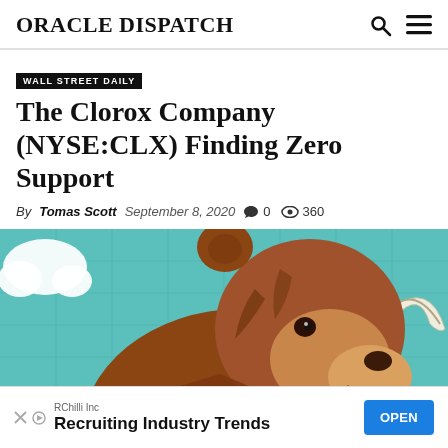ORACLE DISPATCH
WALL STREET DAILY
The Clorox Company (NYSE:CLX) Finding Zero Support
By Tomas Scott  September 8, 2020  0  360
[Figure (illustration): Cartoon illustration of a brown bear (bearish market symbol) on a teal/light blue background with grid lines. The bear is shown from a low angle, snarling, with a bull's horn visible on the right side. White cloud in upper left.]
RChilli Inc  Recruiting Industry Trends  OPEN